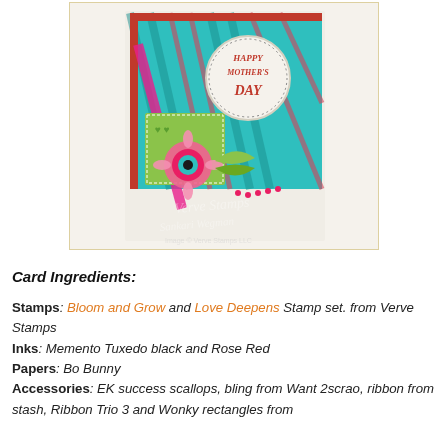[Figure (photo): A handmade Happy Mother's Day card with colorful teal, red, pink and green patterned paper, a flower embellishment, ribbon, and a circular stamped sentiment reading Happy Mother's Day. Watermark reads Verve Stamps, Sankari Wegman.]
Card Ingredients:
Stamps: Bloom and Grow and Love Deepens Stamp set. from Verve Stamps
Inks: Memento Tuxedo black and Rose Red
Papers: Bo Bunny
Accessories: EK success scallops, bling from Want 2scrao, ribbon from stash, Ribbon Trio 3 and Wonky rectangles from